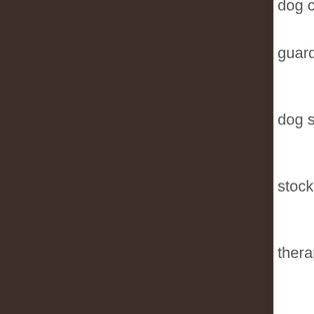[Figure (photo): Dark brown rectangular panel occupying the left portion of the page]
dog collars extra s…
guard dogs yahoo…
dog skin problems…
stock dog trainers…
therapy dogs elder…
australian shepher…
american bull dog…
dog furniture
dog shelter
bernese mountain…
bird dog training flo…
dog obedience trai…